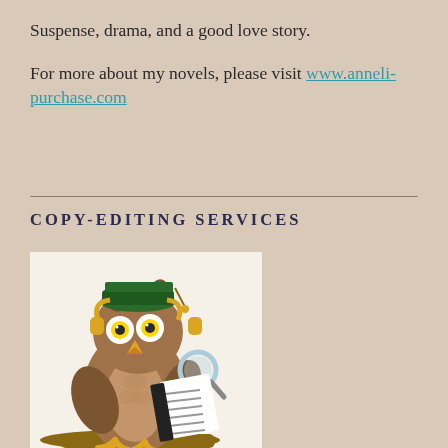Suspense, drama, and a good love story.
For more about my novels, please visit www.anneli-purchase.com
COPY-EDITING SERVICES
[Figure (illustration): Cartoon owl wearing a green graduation cap and yellow headphones, holding a magnifying glass over an open book/manuscript, perched on a branch. Illustration for copy-editing services.]